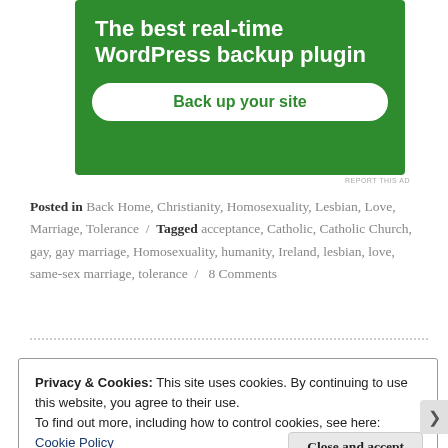[Figure (screenshot): Green advertisement banner for a WordPress backup plugin with white bold text 'The best real-time WordPress backup plugin' and a white rounded button 'Back up your site']
REPORT THIS AD
Posted in Back Home, Christianity, Homosexuality, Lesbian, Love, Marriage, Tolerance / Tagged acceptance, Catholic, Catholic Church, gay, gay marriage, Homosexuality, humanity, Ireland, lesbian, love, same-sex marriage, tolerance / 8 Comments
Privacy & Cookies: This site uses cookies. By continuing to use this website, you agree to their use.
To find out more, including how to control cookies, see here: Cookie Policy
Close and accept